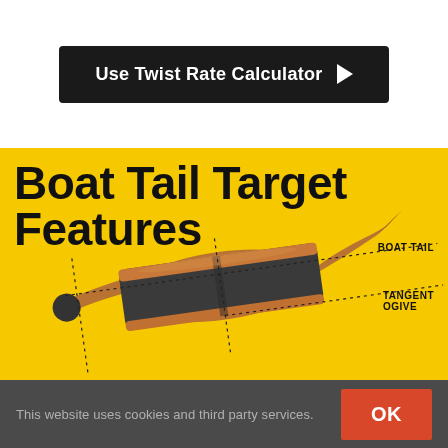[Figure (infographic): Dark rounded rectangular button with white text 'Use Twist Rate Calculator' and a white right-pointing triangle/play arrow on a white background]
Boat Tail Target Features
[Figure (illustration): 3D rendered bullet/projectile on yellow background showing boat tail and tangent ogive features, with dashed lines pointing to labeled parts: BOAT TAIL and TANGENT OGIVE]
This website uses cookies and third party services.